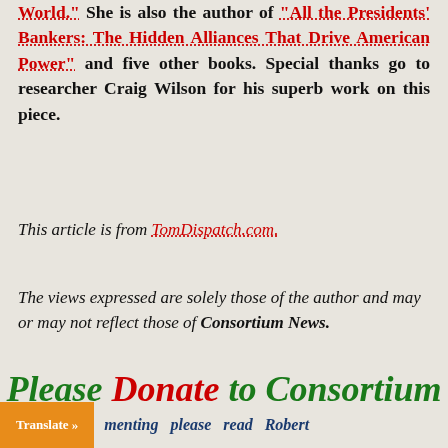World." She is also the author of "All the Presidents' Bankers: The Hidden Alliances That Drive American Power" and five other books. Special thanks go to researcher Craig Wilson for his superb work on this piece.
This article is from TomDispatch.com.
The views expressed are solely those of the author and may or may not reflect those of Consortium News.
Please Donate to Consortium News.
Translate » menting please read Robert